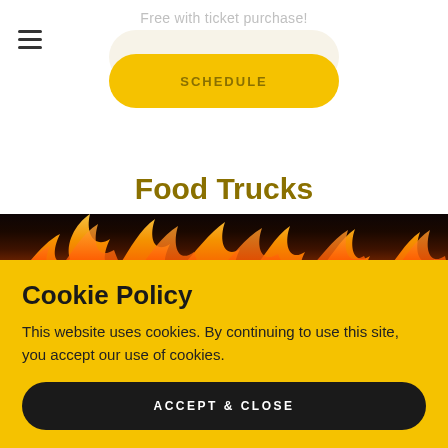Free with ticket purchase!
[Figure (other): Hamburger menu icon (three horizontal lines)]
[Figure (other): SCHEDULE button with rounded pill shape, yellow foreground and cream background]
Food Trucks
[Figure (photo): Photograph of fire and flames with dark background]
Cookie Policy
This website uses cookies. By continuing to use this site, you accept our use of cookies.
ACCEPT & CLOSE